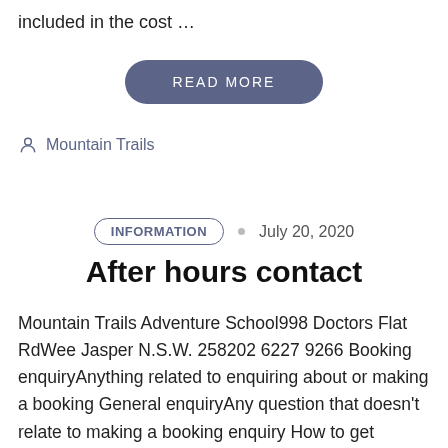included in the cost …
READ MORE
Mountain Trails
INFORMATION · July 20, 2020
After hours contact
Mountain Trails Adventure School998 Doctors Flat RdWee Jasper N.S.W. 258202 6227 9266 Booking enquiryAnything related to enquiring about or making a booking General enquiryAny question that doesn't relate to making a booking enquiry How to get hereYou know you're close to Mountain trails,